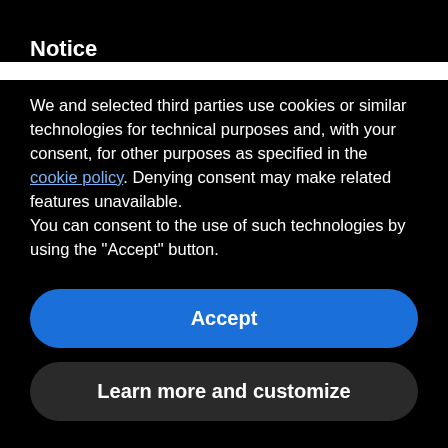Notice
We and selected third parties use cookies or similar technologies for technical purposes and, with your consent, for other purposes as specified in the cookie policy. Denying consent may make related features unavailable.
You can consent to the use of such technologies by using the “Accept” button.
Accept
Learn more and customize
identifier. Cookies are sent to a user’s browser from our servers and are stored on the user’s computer hard drive. Sending a cookie to a user’s browser enables us to collect Non-Personal Information about that user and keep a record of the user’s preferences when utilizing our services, both on an individual and aggregate basis.  The Company may use both persistent and session cookies; persistent cookies remain on your computer after you close your session and until you delete them, while session cookies expire when